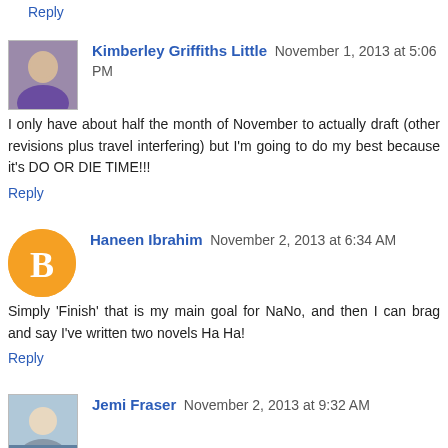Reply
Kimberley Griffiths Little  November 1, 2013 at 5:06 PM
I only have about half the month of November to actually draft (other revisions plus travel interfering) but I'm going to do my best because it's DO OR DIE TIME!!!
Reply
Haneen Ibrahim  November 2, 2013 at 6:34 AM
Simply 'Finish' that is my main goal for NaNo, and then I can brag and say I've written two novels Ha Ha!
Reply
Jemi Fraser  November 2, 2013 at 9:32 AM
Love that! (Our family motto has been technology hates us ... but we're looking to update :P)
My goal for NaNo is to do some first draft writing...